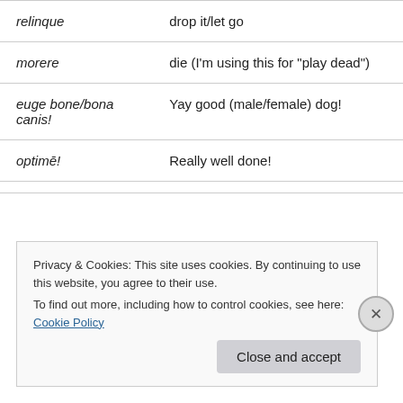| Latin | English |
| --- | --- |
| relinque | drop it/let go |
| morere | die (I'm using this for "play dead") |
| euge bone/bona canis! | Yay good (male/female) dog! |
| optimē! | Really well done! |
Privacy & Cookies: This site uses cookies. By continuing to use this website, you agree to their use. To find out more, including how to control cookies, see here: Cookie Policy